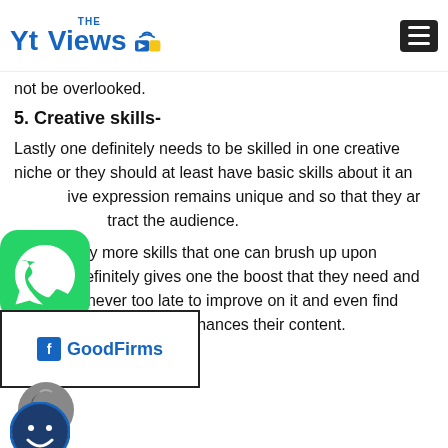THE Yt Views [logo]
not be overlooked.
5. Creative skills-
Lastly one definitely needs to be skilled in one creative niche or they should at least have basic skills about it an[d their creati]ve expression remains unique and so that they ar[e able to at]tract the audience.
[There are man]y more skills that one can brush up upon [and practicin]e definitely gives one the boost that they need and [if they lack] them, it is never too late to improve on it and even find [the right cont]ent creator and enhances their content.